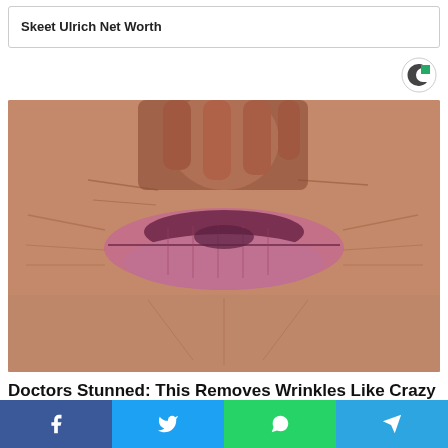Skeet Ulrich Net Worth
[Figure (photo): Close-up photo of elderly person's wrinkled lips and surrounding skin area]
Doctors Stunned: This Removes Wrinkles Like Crazy (Try Tonight)
Social share bar with Facebook, Twitter, WhatsApp, and Telegram buttons